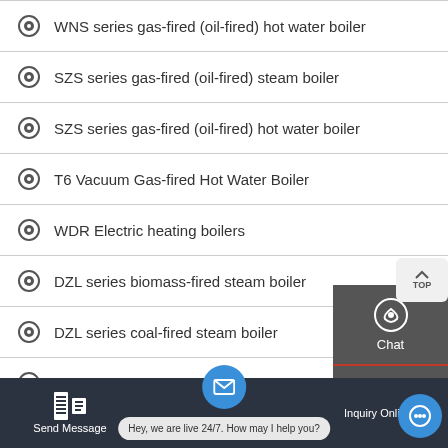WNS series gas-fired (oil-fired) hot water boiler
SZS series gas-fired (oil-fired) steam boiler
SZS series gas-fired (oil-fired) hot water boiler
T6 Vacuum Gas-fired Hot Water Boiler
WDR Electric heating boilers
DZL series biomass-fired steam boiler
DZL series coal-fired steam boiler
SZL series biomass-fired steam boiler
SZL series coal-fired steam boiler
[Figure (screenshot): Side chat panel with Chat, Email, and Contact buttons in dark grey with red dividers]
[Figure (screenshot): Bottom bar with Send Message, live chat bubble saying 'Hey, we are live 24/7. How may I help you?', and Inquiry Online buttons]